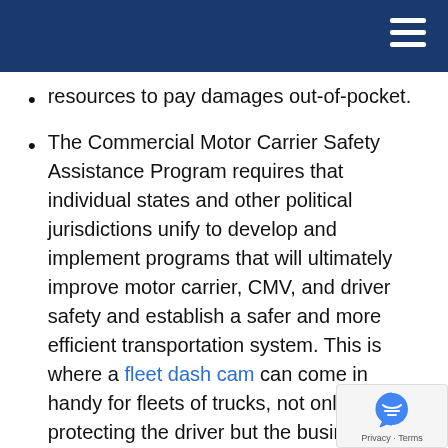resources to pay damages out-of-pocket.
The Commercial Motor Carrier Safety Assistance Program requires that individual states and other political jurisdictions unify to develop and implement programs that will ultimately improve motor carrier, CMV, and driver safety and establish a safer and more efficient transportation system. This is where a fleet dash cam can come in handy for fleets of trucks, not only protecting the driver but the business too.
Commercial driver's license standards are federal regulations in place to reduce or prevent truck accidents and resulting injuries and/or deaths by requiring drivers of certain vehicles to obtain a single commercial motor vehicle driver's license.
Alabama state and/or federal laws, depending on whether the truck was involved in intrastate or interstate transport, may govern truck accidents.